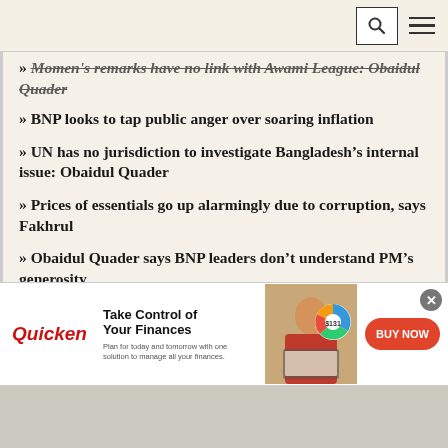[Navigation bar with search and menu icons]
» Momen's remarks have no link with Awami League: Obaidul Quader
» BNP looks to tap public anger over soaring inflation
» UN has no jurisdiction to investigate Bangladesh's internal issue: Obaidul Quader
» Prices of essentials go up alarmingly due to corruption, says Fakhrul
» Obaidul Quader says BNP leaders don't understand PM's generosity
» Fakhrul says... BNP leaders... f [partially visible]
[Figure (infographic): Quicken finance app advertisement banner with logo, headline 'Take Control of Your Finances', subtext 'Plan for today and tomorrow with one solution to manage all your finances.', woman working at laptop image with pie chart overlay, and red 'BUY NOW' button.]